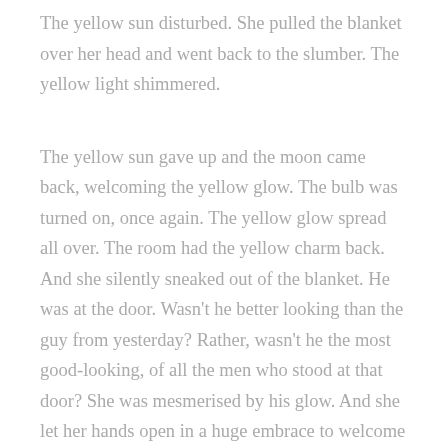The yellow sun disturbed. She pulled the blanket over her head and went back to the slumber. The yellow light shimmered.
The yellow sun gave up and the moon came back, welcoming the yellow glow. The bulb was turned on, once again. The yellow glow spread all over. The room had the yellow charm back. And she silently sneaked out of the blanket. He was at the door. Wasn't he better looking than the guy from yesterday? Rather, wasn't he the most good-looking, of all the men who stood at that door? She was mesmerised by his glow. And she let her hands open in a huge embrace to welcome him into the bed. Before he could move, she let her hands go asked him to leave. His head hung in